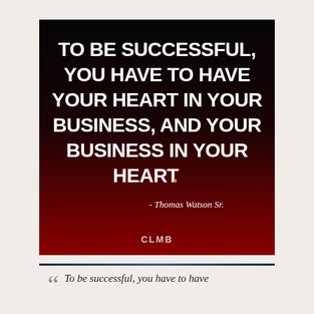[Figure (illustration): Motivational quote image with dark gradient background (black to dark red). White bold text reads: 'TO BE SUCCESSFUL, YOU HAVE TO HAVE YOUR HEART IN YOUR BUSINESS, AND YOUR BUSINESS IN YOUR HEART.' with a gold period. Script text below reads '- Thomas Watson Sr.' Website watermark 'CLMB' at bottom center.]
To be successful, you have to have